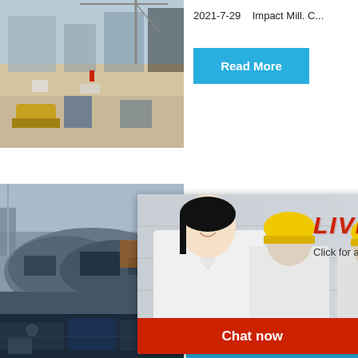[Figure (photo): Construction site aerial view with cranes and machinery, top left]
2021-7-29    Impact Mill. C...
Read More
[Figure (photo): Industrial demolition or mining site with heavy machinery, middle left]
rs
hour online
[Figure (photo): Impact crusher/mill machine, right side]
Click me to chat>>
Read
[Figure (infographic): Live Chat popup overlay with workers in hard hats, Chat now and Chat later buttons]
LIVE CHAT
Click for a Free Consultation
Chat now
Chat later
Enquiry
limingjlmofen
[Figure (photo): Industrial equipment photo, bottom left]
Air Clas...